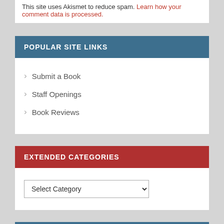This site uses Akismet to reduce spam. Learn how your comment data is processed.
POPULAR SITE LINKS
Submit a Book
Staff Openings
Book Reviews
EXTENDED CATEGORIES
Select Category
ARCHIVES